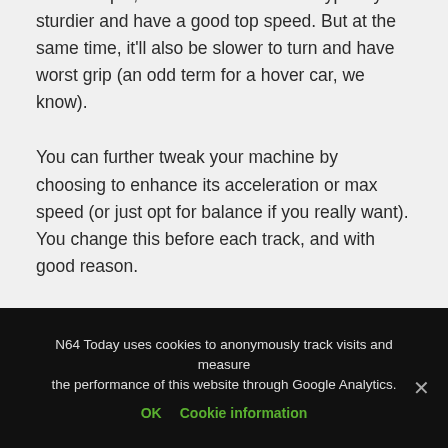For example, a heavier machine will typically be sturdier and have a good top speed. But at the same time, it'll also be slower to turn and have worst grip (an odd term for a hover car, we know).
You can further tweak your machine by choosing to enhance its acceleration or max speed (or just opt for balance if you really want). You change this before each track, and with good reason.
N64 Today uses cookies to anonymously track visits and measure the performance of this website through Google Analytics.
OK   Cookie information